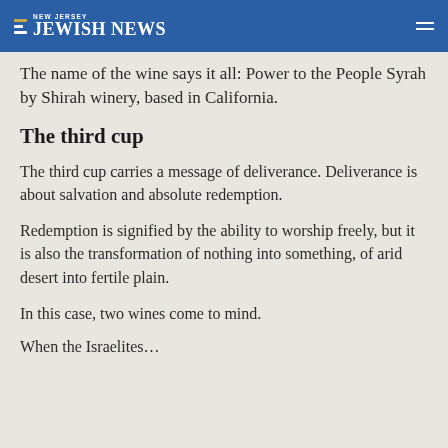NEW JERSEY JEWISH NEWS
The name of the wine says it all: Power to the People Syrah by Shirah winery, based in California.
The third cup
The third cup carries a message of deliverance. Deliverance is about salvation and absolute redemption.
Redemption is signified by the ability to worship freely, but it is also the transformation of nothing into something, of arid desert into fertile plain.
In this case, two wines come to mind.
When the Israelites…